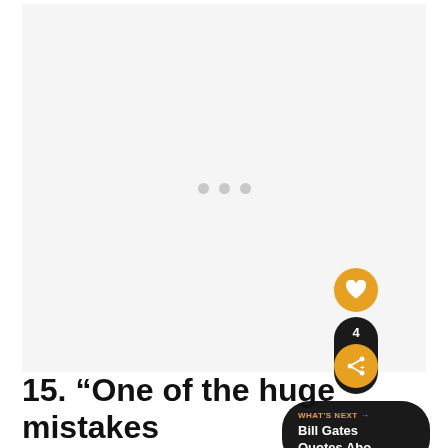[Figure (photo): Large mostly blank/loading image area with a light gray background and three gray loading dots centered in it]
[Figure (infographic): UI overlay buttons: orange heart/like button, dark pill with share count '4' and orange share button, dark 'WHAT'S NEXT' card showing 'Bill Gates Quotes Abo...']
15. “One of the huge mistakes